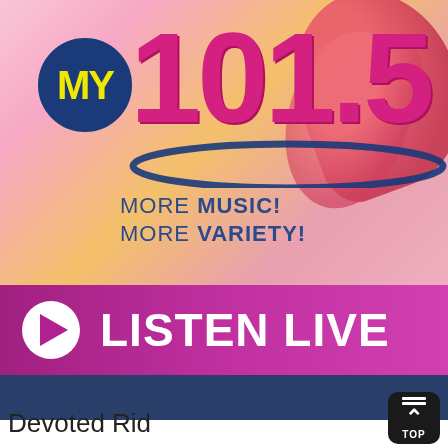[Figure (logo): MY 101.5 radio station logo with 'MORE MUSIC! MORE VARIETY!' tagline on a colorful pink/orange gradient background with floral imagery, and a 'LISTEN LIVE' play button banner]
TOP
Devoted Dick...ll